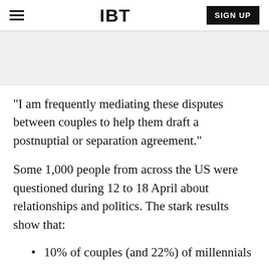IBT | SIGN UP
[Figure (other): Advertisement banner area, gray background]
"I am frequently mediating these disputes between couples to help them draft a postnuptial or separation agreement."
Some 1,000 people from across the US were questioned during 12 to 18 April about relationships and politics. The stark results show that:
10% of couples (and 22%) of millennials